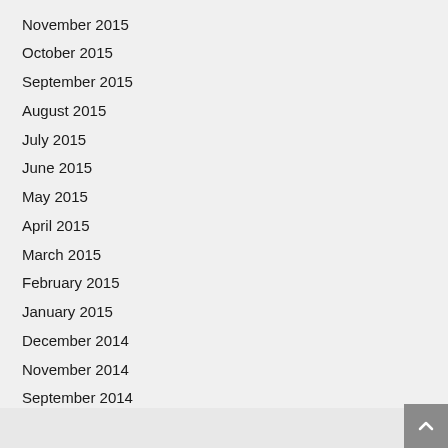November 2015
October 2015
September 2015
August 2015
July 2015
June 2015
May 2015
April 2015
March 2015
February 2015
January 2015
December 2014
November 2014
September 2014
August 2014
July 2014
^